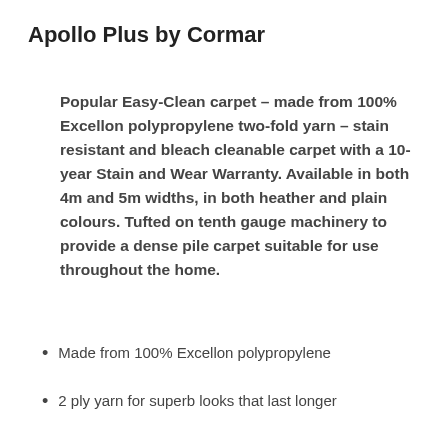Apollo Plus by Cormar
Popular Easy-Clean carpet – made from 100% Excellon polypropylene two-fold yarn – stain resistant and bleach cleanable carpet with a 10-year Stain and Wear Warranty. Available in both 4m and 5m widths, in both heather and plain colours. Tufted on tenth gauge machinery to provide a dense pile carpet suitable for use throughout the home.
Made from 100% Excellon polypropylene
2 ply yarn for superb looks that last longer